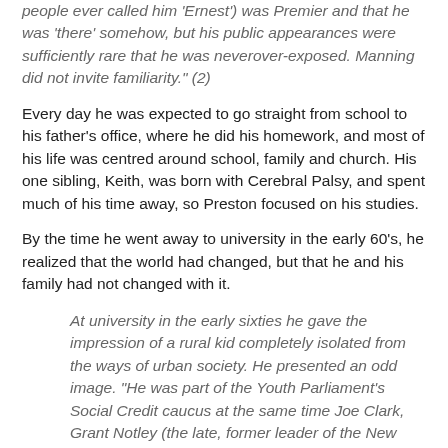people ever called him 'Ernest') was Premier and that he was 'there' somehow, but his public appearances were sufficiently rare that he was neverover-exposed. Manning did not invite familiarity." (2)
Every day he was expected to go straight from school to his father's office, where he did his homework, and most of his life was centred around school, family and church. His one sibling, Keith, was born with Cerebral Palsy, and spent much of his time away, so Preston focused on his studies.
By the time he went away to university in the early 60's, he realized that the world had changed, but that he and his family had not changed with it.
At university in the early sixties he gave the impression of a rural kid completely isolated from the ways of urban society. He presented an odd image. "He was part of the Youth Parliament's Social Credit caucus at the same time Joe Clark, Grant Notley (the late, former leader of the New Democratic Party in Alberta), Jim Coutts (who